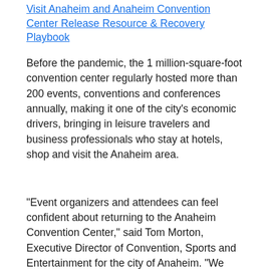Visit Anaheim and Anaheim Convention Center Release Resource & Recovery Playbook
Before the pandemic, the 1 million-square-foot convention center regularly hosted more than 200 events, conventions and conferences annually, making it one of the city's economic drivers, bringing in leisure travelers and business professionals who stay at hotels, shop and visit the Anaheim area.
“Event organizers and attendees can feel confident about returning to the Anaheim Convention Center,” said Tom Morton, Executive Director of Convention, Sports and Entertainment for the city of Anaheim. “We have taken extensive steps to prepare for the return of events, with Starpower as the first of many to come. At the same time, we have been proud to play a leading role in bringing down (the number of COVID) cases by hosting Orange